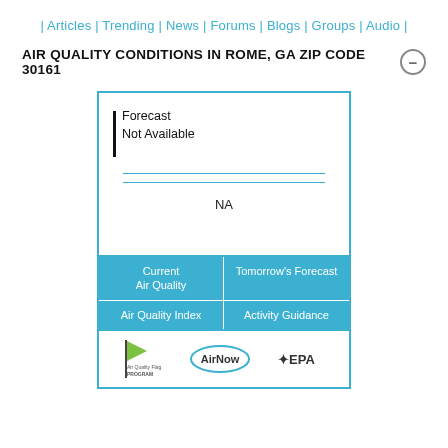| Articles | Trending | News | Forums | Blogs | Groups | Audio |
AIR QUALITY CONDITIONS IN ROME, GA ZIP CODE 30161
[Figure (infographic): Air quality widget showing Forecast Not Available with NA value, navigation buttons for Current Air Quality, Tomorrow's Forecast, Air Quality Index, Activity Guidance, and logos for Air Quality Flag Program, AirNow, and EPA]
NA